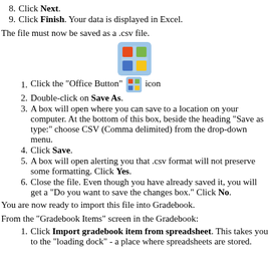8. Click Next.
9. Click Finish. Your data is displayed in Excel.
The file must now be saved as a .csv file.
1. Click the "Office Button" [icon] icon
2. Double-click on Save As.
3. A box will open where you can save to a location on your computer. At the bottom of this box, beside the heading "Save as type:" choose CSV (Comma delimited) from the drop-down menu.
4. Click Save.
5. A box will open alerting you that .csv format will not preserve some formatting. Click Yes.
6. Close the file. Even though you have already saved it, you will get a "Do you want to save the changes box." Click No.
You are now ready to import this file into Gradebook.
From the "Gradebook Items" screen in the Gradebook:
1. Click Import gradebook item from spreadsheet. This takes you to the "loading dock" - a place where spreadsheets are stored.